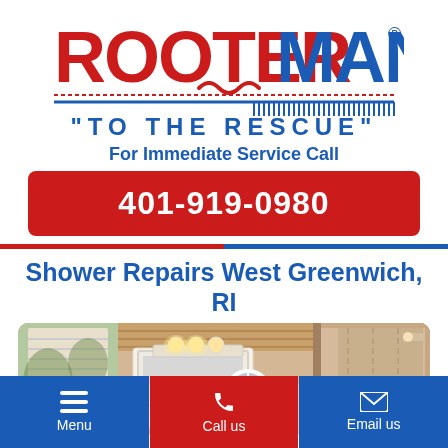[Figure (logo): Rooter-Man logo with 'TO THE RESCUE' tagline and drain snake graphic]
For Immediate Service Call
401-919-0980
Shower Repairs West Greenwich, RI
[Figure (photo): Bathroom interior photo showing vanity mirror, round window, warm lighting, and glass shower enclosure]
Menu
Call us
Email us